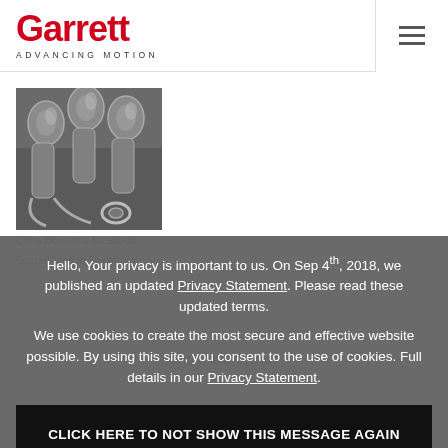Garrett ADVANCING MOTION
[Figure (photo): Metal turbocharger parts/exhaust manifold components in steel/silver finish]
Chris Boersma facebook
Hello, Your privacy is important to us. On Sep 4th, 2018, we published an updated Privacy Statement. Please read these updated terms.
We use cookies to create the most secure and effective website possible. By using this site, you consent to the use of cookies. Full details in our Privacy Statement.
CLICK HERE TO NOT SHOW THIS MESSAGE AGAIN